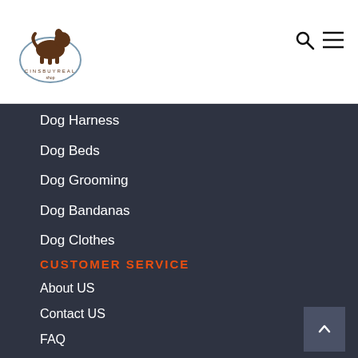CINSBUYREAL logo, search icon, menu icon
Dog Harness
Dog Beds
Dog Grooming
Dog Bandanas
Dog Clothes
Dog Toys
CUSTOMER SERVICE
About US
Contact US
FAQ
Privacy & Security